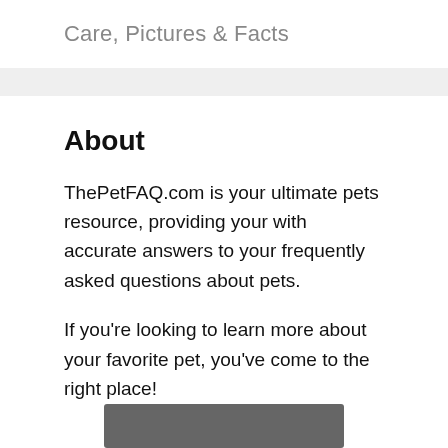Care, Pictures & Facts
About
ThePetFAQ.com is your ultimate pets resource, providing your with accurate answers to your frequently asked questions about pets.
If you're looking to learn more about your favorite pet, you've come to the right place!